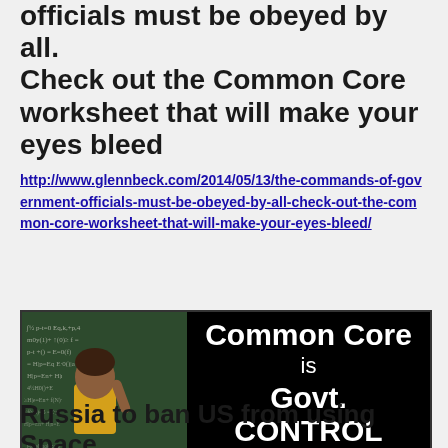officials must be obeyed by all. Check out the Common Core worksheet that will make your eyes bleed
http://www.glennbeck.com/2014/05/13/the-commands-of-government-officials-must-be-obeyed-by-all-check-out-the-common-core-worksheet-that-will-make-your-eyes-bleed/
[Figure (photo): Banner image with a chalkboard scene on the left showing a student in a yellow shirt facing a blackboard covered in math equations, and on the right black background with white text reading 'Common Core is Govt. CONTROL']
Russia to ban US from using Space